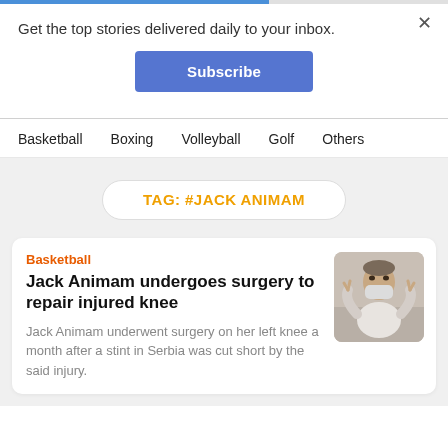Get the top stories delivered daily to your inbox.
Subscribe
Basketball
Boxing
Volleyball
Golf
Others
TAG: #JACK ANIMAM
Basketball
Jack Animam undergoes surgery to repair injured knee
Jack Animam underwent surgery on her left knee a month after a stint in Serbia was cut short by the said injury.
[Figure (photo): Photo of Jack Animam wearing a mask and making hand gestures]